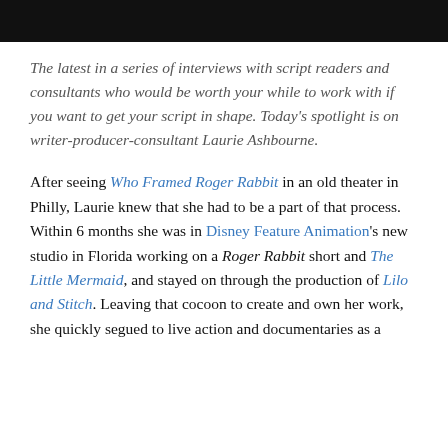[Figure (photo): Cropped photo showing bottom portion of a person's face/head, dark background]
The latest in a series of interviews with script readers and consultants who would be worth your while to work with if you want to get your script in shape. Today's spotlight is on writer-producer-consultant Laurie Ashbourne.
After seeing Who Framed Roger Rabbit in an old theater in Philly, Laurie knew that she had to be a part of that process. Within 6 months she was in Disney Feature Animation's new studio in Florida working on a Roger Rabbit short and The Little Mermaid, and stayed on through the production of Lilo and Stitch. Leaving that cocoon to create and own her work, she quickly segued to live action and documentaries as a